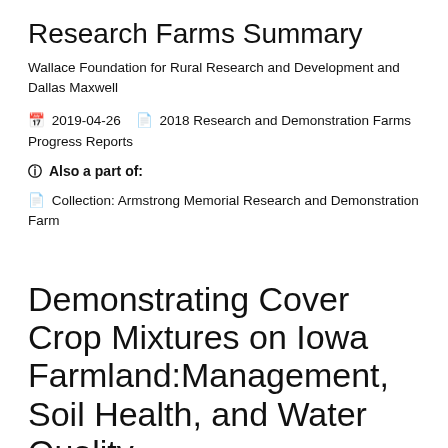Research Farms Summary
Wallace Foundation for Rural Research and Development and Dallas Maxwell
📅 2019-04-26  📋 2018 Research and Demonstration Farms Progress Reports
ℹ Also a part of:
📋 Collection: Armstrong Memorial Research and Demonstration Farm
Demonstrating Cover Crop Mixtures on Iowa Farmland:Management, Soil Health, and Water Quality